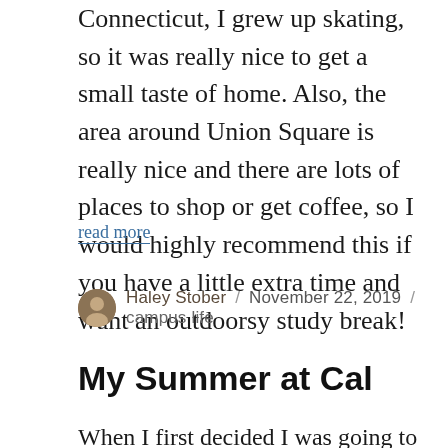Connecticut, I grew up skating, so it was really nice to get a small taste of home. Also, the area around Union Square is really nice and there are lots of places to shop or get coffee, so I would highly recommend this if you have a little extra time and want an outdoorsy study break!
read more
Haley Stober / November 22, 2019 / campus life
My Summer at Cal
When I first decided I was going to stay in